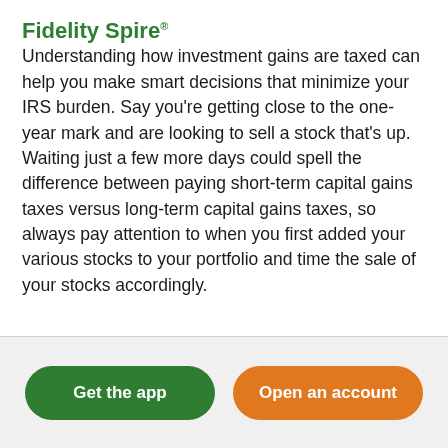Fidelity Spire®
Understanding how investment gains are taxed can help you make smart decisions that minimize your IRS burden. Say you're getting close to the one-year mark and are looking to sell a stock that's up. Waiting just a few more days could spell the difference between paying short-term capital gains taxes versus long-term capital gains taxes, so always pay attention to when you first added your various stocks to your portfolio and time the sale of your stocks accordingly.
Get the app
Open an account